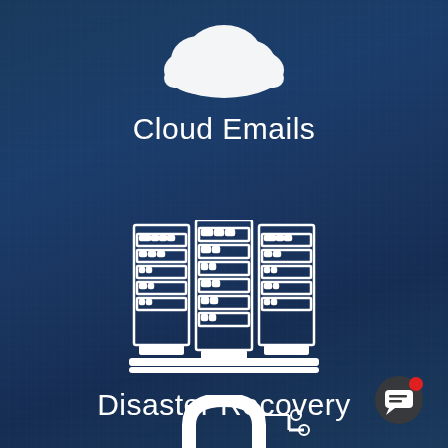[Figure (illustration): White cloud icon at top center on dark blue blurred background]
Cloud Emails
[Figure (illustration): White server/data center rack icon in center of page on dark blue background]
Disaster Recovery
[Figure (illustration): White padlock with circuit lines icon partially visible at bottom center]
[Figure (illustration): Dark chat bubble UI element with red notification dot in bottom right corner]